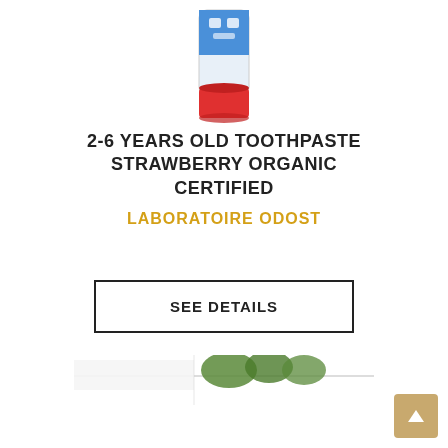[Figure (photo): Top portion of a children's toothpaste tube (blue and red colors) shown from above, partially cropped at the top of the page]
2-6 YEARS OLD TOOTHPASTE STRAWBERRY ORGANIC CERTIFIED
LABORATOIRE ODOST
SEE DETAILS
[Figure (photo): Bottom portion of a product (green organic certified logo/packaging) partially cropped at the bottom of the page]